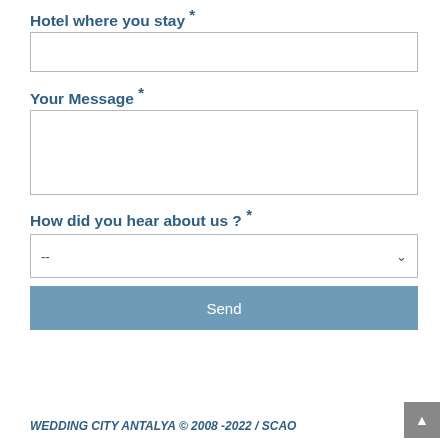Hotel where you stay *
Your Message *
How did you hear about us ? *
Send
WEDDING CITY ANTALYA © 2008 -2022 / SCAO